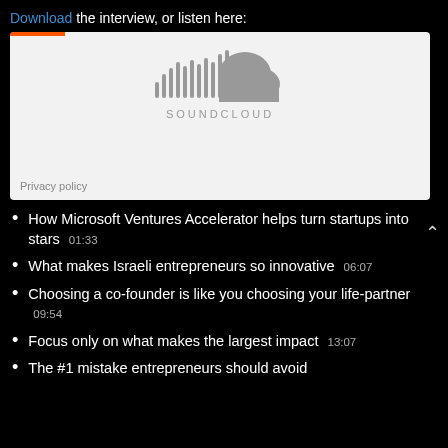Download the interview, or listen here:
[Figure (screenshot): SoundCloud embedded audio player widget with orange progress bar at top, SoundCloud logo in center, and Privacy policy link at bottom left. Background is light gray.]
How Microsoft Ventures Accelerator helps turn startups into stars 01:33
What makes Israeli entrepreneurs so innovative 06:07
Choosing a co-founder is like you choosing your life-partner 09:54
Focus only on what makes the largest impact 13:07
The #1 mistake entrepreneurs should avoid...